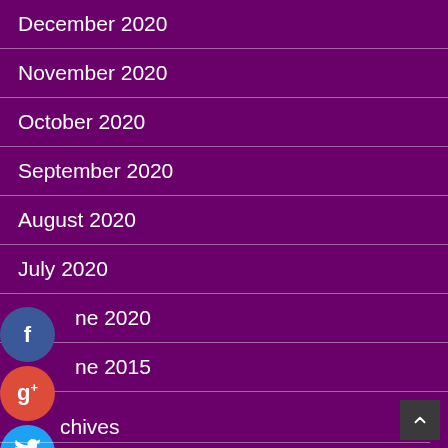December 2020
November 2020
October 2020
September 2020
August 2020
July 2020
June 2020
June 2015
Archives